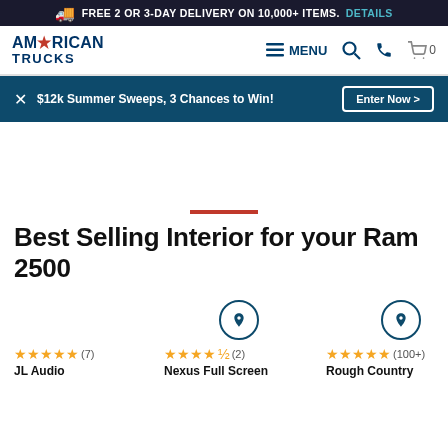FREE 2 OR 3-DAY DELIVERY ON 10,000+ ITEMS. DETAILS
[Figure (logo): American Trucks logo with star accent]
MENU | Search icon | Phone icon | Cart 0
$12k Summer Sweeps, 3 Chances to Win! Enter Now >
Best Selling Interior for your Ram 2500
JL Audio - 5 stars (7)
Nexus Full Screen - 4.5 stars (2)
Rough Country - 5 stars (100+)